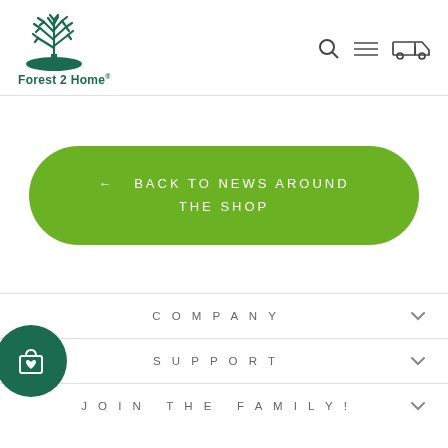[Figure (logo): Forest 2 Home logo with tree icon and company name]
[Figure (illustration): Navigation icons: search magnifying glass, hamburger menu, truck/cart icon]
[Figure (illustration): Green rounded rectangle button with left arrow and text BACK TO NEWS AROUND THE SHOP]
COMPANY
SUPPORT
[Figure (illustration): Teal circle with shopping bag and heart icon]
JOIN THE FAMILY!